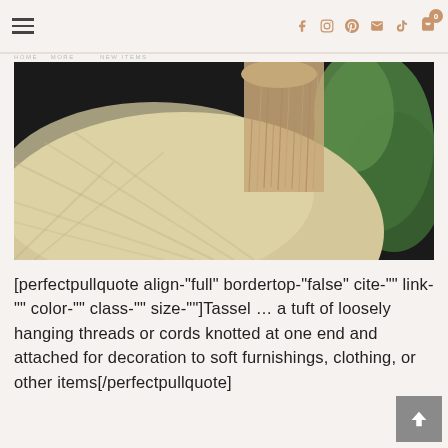Navigation bar with hamburger menu and social icons (f, Instagram, Pinterest, email, YouTube) and cart with badge 0
[Figure (photo): Close-up photograph of a woven straw hat with a tassel made of loosely hanging beige/natural threads, against a background of green leaves]
[perfectpullquote align="full" bordertop="false" cite="" link="" color="" class="" size=""]Tassel … a tuft of loosely hanging threads or cords knotted at one end and attached for decoration to soft furnishings, clothing, or other items[/perfectpullquote]